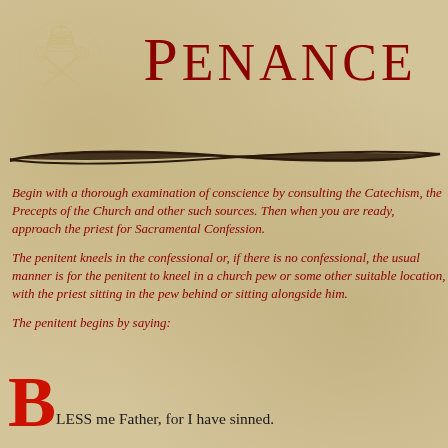[Figure (illustration): Papal coat of arms / Vatican emblem in light outline style, top left corner]
Penance
[Figure (illustration): Decorative horizontal divider line resembling a calligraphic brush stroke or quill feather shape, dark brown]
Begin with a thorough examination of conscience by consulting the Catechism, the Precepts of the Church and other such sources. Then when you are ready, approach the priest for Sacramental Confession.
The penitent kneels in the confessional or, if there is no confessional, the usual manner is for the penitent to kneel in a church pew or some other suitable location, with the priest sitting in the pew behind or sitting alongside him.
The penitent begins by saying:
BLESS me Father, for I have sinned.